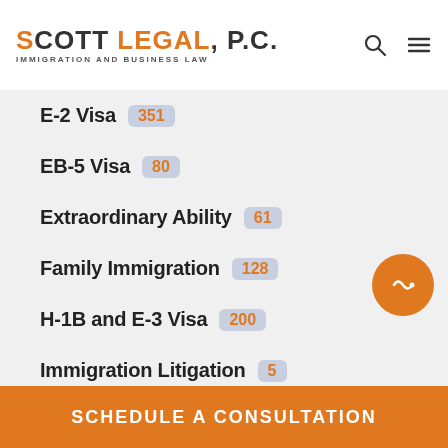SCOTT LEGAL, P.C. IMMIGRATION AND BUSINESS LAW
E-2 Visa 351
EB-5 Visa 80
Extraordinary Ability 61
Family Immigration 128
H-1B and E-3 Visa 200
Immigration Litigation 5
International Entrepreneur Rule 11
Investor Visas 261
L-1 Visa 87
SCHEDULE A CONSULTATION